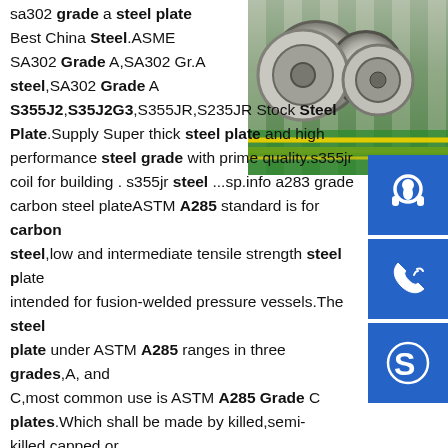[Figure (photo): Steel coils/rolls on a green surface in a factory setting with yellow lines]
sa302 grade a steel plate Best China Steel.ASME SA302 Grade A,SA302 Gr.A steel,SA302 Grade A S355J2,S35J2G3,S355JR,S235JR Stock Steel Plate.Supply Super thick steel plate and high performance steel grade with prime quality.s355jr coil for building . s355jr steel ...sp.info a283 grade carbon steel plateASTM A285 standard is for carbon steel,low and intermediate tensile strength steel plate intended for fusion-welded pressure vessels.The steel plate under ASTM A285 ranges in three grades,A,B and C,most common use is ASTM A285 Grade C plates.Which shall be made by killed,semi-killed,capped or rimmed steel practices at manufacturer's . ASTM ...sp.info s355 j4 steel pdf - Franquicia Automobile steel plate SupplierS355,S355J2,S355JR,S355J2+N steel stockholders and suppliers,delivering to the whole of the UK.West Yorkshire Steel are suppliers of S355 grades in